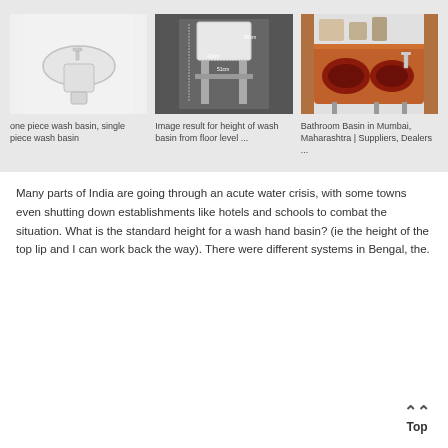[Figure (photo): White one piece wash basin / pedestal sink on white background]
one piece wash basin, single piece wash basin
[Figure (photo): Image result for height of wash basin from floor level, dark background with measurement annotations]
Image result for height of wash basin from floor level ...
[Figure (photo): Bathroom basin in red/brown marble countertop with chrome faucet]
Bathroom Basin in Mumbai, Maharashtra | Suppliers, Dealers ...
Many parts of India are going through an acute water crisis, with some towns even shutting down establishments like hotels and schools to combat the situation. What is the standard height for a wash hand basin? (ie the height of the top lip and I can work back the way). There were different systems in Bengal, the.
Top